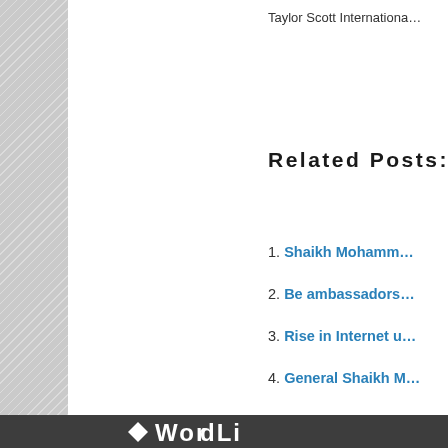Taylor Scott Internationa…
Related Posts:
1. Shaikh Mohamm…
2. Be ambassadors…
3. Rise in Internet u…
4. General Shaikh M…
This entry was posted in Blog… international, investment, in…
WordLi…